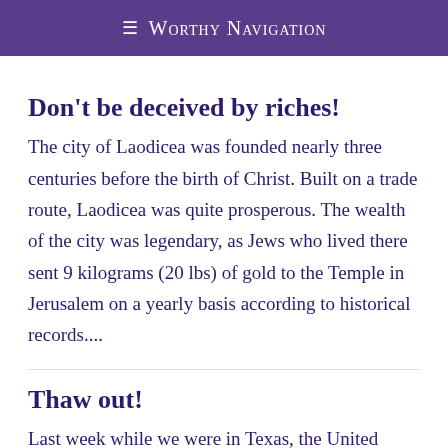≡ Worthy Navigation
Don't be deceived by riches!
The city of Laodicea was founded nearly three centuries before the birth of Christ. Built on a trade route, Laodicea was quite prosperous. The wealth of the city was legendary, as Jews who lived there sent 9 kilograms (20 lbs) of gold to the Temple in Jerusalem on a yearly basis according to historical records....
Thaw out!
Last week while we were in Texas, the United States experienced a polar vortex.  Historians called it a 100-year storm!  Millions of Texans